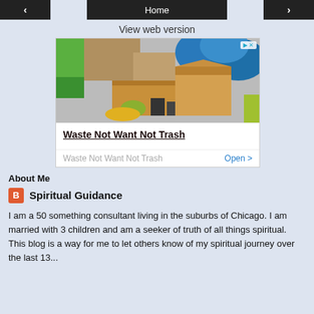< Home >
View web version
[Figure (photo): Advertisement image showing cluttered boxes, trash bags, and household items with text 'Waste Not Want Not Trash' and an Open button]
About Me
Spiritual Guidance
I am a 50 something consultant living in the suburbs of Chicago. I am married with 3 children and am a seeker of truth of all things spiritual. This blog is a way for me to let others know of my spiritual journey over the last 13...